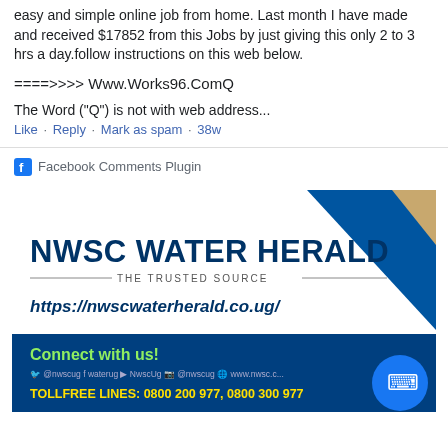easy and simple online job from home. Last month I have made and received $17852 from this Jobs by just giving this only 2 to 3 hrs a day.follow instructions on this web below.
=====>>>> Www.Works96.ComQ
The Word ("Q") is not with web address...
Like · Reply · Mark as spam · 38w
Facebook Comments Plugin
[Figure (illustration): NWSC Water Herald advertisement banner showing 'NWSC WATER HERALD - THE TRUSTED SOURCE', website URL https://nwscwaterherald.co.ug/, social media handles, tollfree lines 0800 200 977, 0800 300 977, and a Messenger button.]